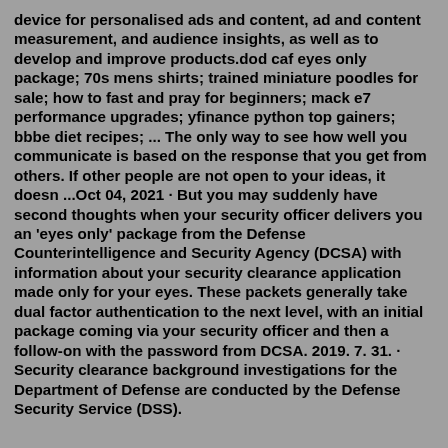device for personalised ads and content, ad and content measurement, and audience insights, as well as to develop and improve products.dod caf eyes only package; 70s mens shirts; trained miniature poodles for sale; how to fast and pray for beginners; mack e7 performance upgrades; yfinance python top gainers; bbbe diet recipes; ... The only way to see how well you communicate is based on the response that you get from others. If other people are not open to your ideas, it doesn ...Oct 04, 2021 · But you may suddenly have second thoughts when your security officer delivers you an 'eyes only' package from the Defense Counterintelligence and Security Agency (DCSA) with information about your security clearance application made only for your eyes. These packets generally take dual factor authentication to the next level, with an initial package coming via your security officer and then a follow-on with the password from DCSA. 2019. 7. 31. · Security clearance background investigations for the Department of Defense are conducted by the Defense Security Service (DSS).